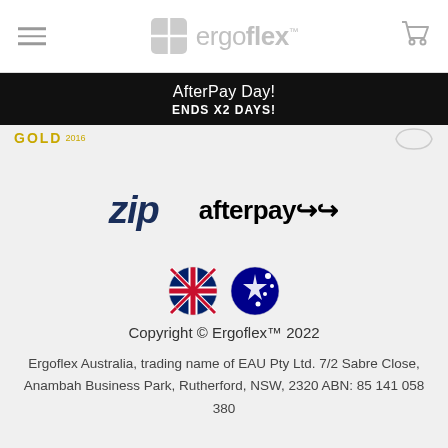[Figure (logo): Ergoflex logo with grid icon and cart icon, hamburger menu on left]
AfterPay Day! ENDS X2 DAYS!
[Figure (logo): GOLD 2016 badge and partial circular badge]
[Figure (logo): Zip payment logo and Afterpay payment logo]
[Figure (illustration): UK flag and Australian flag emoji icons]
Copyright © Ergoflex™ 2022
Ergoflex Australia, trading name of EAU Pty Ltd. 7/2 Sabre Close, Anambah Business Park, Rutherford, NSW, 2320 ABN: 85 141 058 380